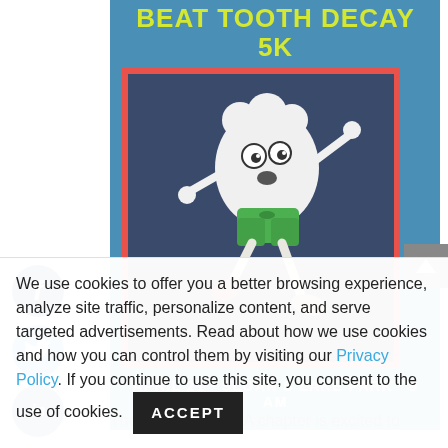[Figure (illustration): Event poster for 'Beat Tooth Decay 5K' with a cartoon running tooth character wearing green shorts, red border, blue background. Text: APRIL 21 - SLOAN'S LAKE PARK - 9 AM]
The Colorado ASDA chapter is excited to
We use cookies to offer you a better browsing experience, analyze site traffic, personalize content, and serve targeted advertisements. Read about how we use cookies and how you can control them by visiting our Privacy Policy. If you continue to use this site, you consent to the use of cookies.